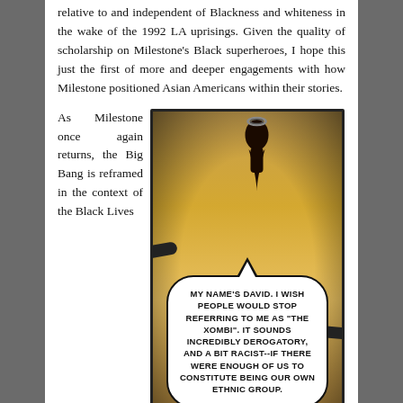relative to and independent of Blackness and whiteness in the wake of the 1992 LA uprisings. Given the quality of scholarship on Milestone's Black superheroes, I hope this just the first of more and deeper engagements with how Milestone positioned Asian Americans within their stories.
As Milestone once again returns, the Big Bang is reframed in the context of the Black Lives
[Figure (illustration): Comic book panel with sepia/golden tone showing a character silhouette at top and a speech bubble reading: MY NAME'S DAVID. I WISH PEOPLE WOULD STOP REFERRING TO ME AS "THE XOMBI". IT SOUNDS INCREDIBLY DEROGATORY, AND A BIT RACIST--IF THERE WERE ENOUGH OF US TO CONSTITUTE BEING OUR OWN ETHNIC GROUP.]